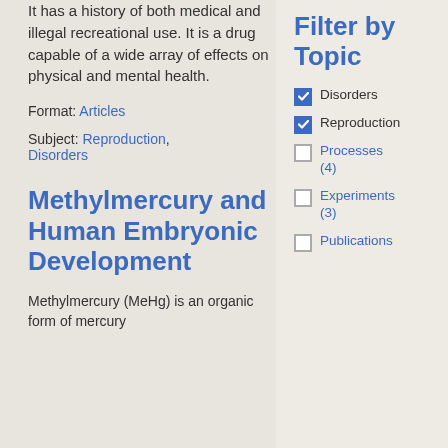It has a history of both medical and illegal recreational use. It is a drug capable of a wide array of effects on physical and mental health.
Format: Articles
Subject: Reproduction, Disorders
Methylmercury and Human Embryonic Development
Methylmercury (MeHg) is an organic form of mercury
Filter by Topic
Disorders (checked)
Reproduction (checked)
Processes (4) (unchecked)
Experiments (3) (unchecked)
Publications (unchecked)